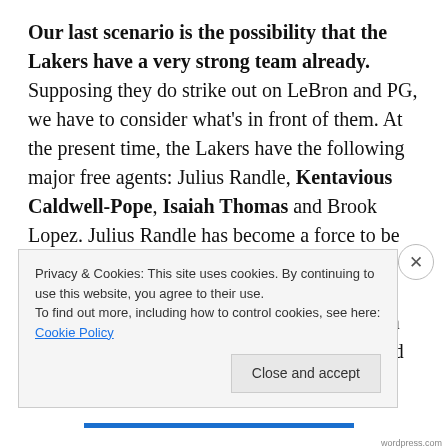Our last scenario is the possibility that the Lakers have a very strong team already. Supposing they do strike out on LeBron and PG, we have to consider what's in front of them. At the present time, the Lakers have the following major free agents: Julius Randle, Kentavious Caldwell-Pope, Isaiah Thomas and Brook Lopez. Julius Randle has become a force to be reckoned with offensively and will be a highly coveted free agent. KCP is a deadly shooter when he's on and has proven to be a lockdown defender, something the Lakers definitely need
Privacy & Cookies: This site uses cookies. By continuing to use this website, you agree to their use.
To find out more, including how to control cookies, see here: Cookie Policy
Close and accept